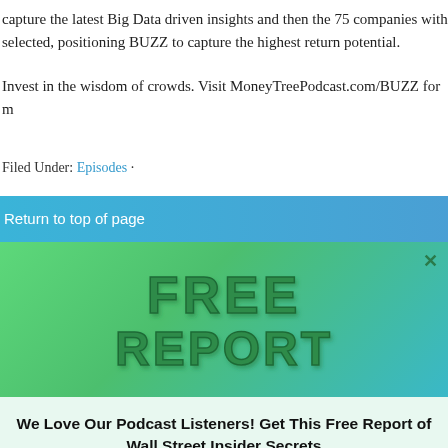capture the latest Big Data driven insights and then the 75 companies with selected, positioning BUZZ to capture the highest return potential.
Invest in the wisdom of crowds. Visit MoneyTreePodcast.com/BUZZ for m
Filed Under: Episodes ·
Return to top of page
[Figure (illustration): Green gradient banner with stylized 3D block letters reading FREE REPORT]
We Love Our Podcast Listeners! Get This Free Report of Wall Street Insider Secrets
I WANT THE FREE REPORT